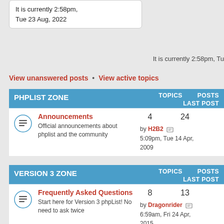It is currently 2:58pm, Tue 23 Aug, 2022
It is currently 2:58pm, Tu
View unanswered posts • View active topics
PHPLIST ZONE — TOPICS POSTS LAST POST
Announcements — 4 topics, 24 posts — by H2B2 5:09pm, Tue 14 Apr, 2009 — Official announcements about phplist and the community
VERSION 3 ZONE — TOPICS POSTS LAST POST
Frequently Asked Questions — 8 topics, 13 posts — by Dragonrider 6:59am, Fri 24 Apr, 2015 — Start here for Version 3 phpList! No need to ask twice
Does phpList do this? — 162 topics, 479 posts — by RickM — Questions about Version 3 phpList features (the answer is probably 'Yes!')